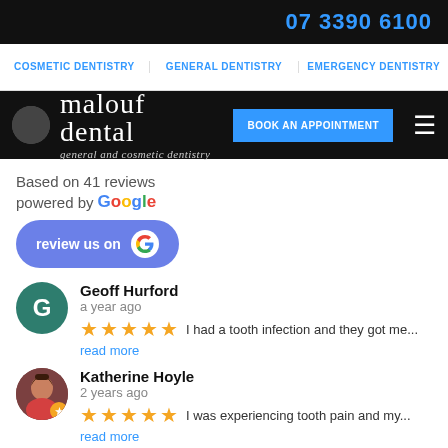07 3390 6100
COSMETIC DENTISTRY | GENERAL DENTISTRY | EMERGENCY DENTISTRY
[Figure (logo): Malouf Dental logo with tagline 'general and cosmetic dentistry', Book An Appointment button, and hamburger menu]
Based on 41 reviews
powered by Google
[Figure (other): Review us on Google button with Google G icon]
Geoff Hurford
a year ago
★★★★★ I had a tooth infection and they got me...
read more
Katherine Hoyle
2 years ago
★★★★★ I was experiencing tooth pain and my...
read more